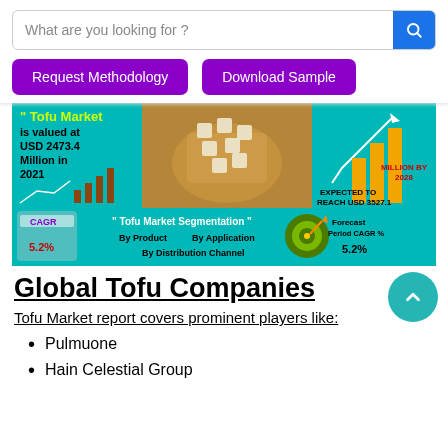What are you looking for ?
Request Methodology | Download Sample
[Figure (infographic): Tofu Market infographic: valued at USD 2473.4 Million in 2021, expected to reach USD 3527.1 Million by 2028, CAGR 5.2%. Segmentation by Product, Application, Distribution Channel. Forecast Period CAGR% 5.2%.]
Global Tofu Companies
Tofu Market report covers prominent players like:
Pulmuone
Hain Celestial Group